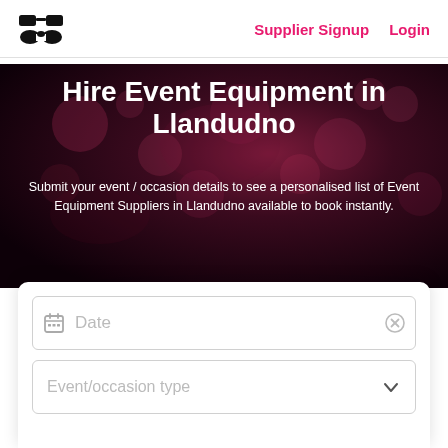Supplier Signup  Login
Hire Event Equipment in Llandudno
Submit your event / occasion details to see a personalised list of Event Equipment Suppliers in Llandudno available to book instantly.
Date
Event/occasion type